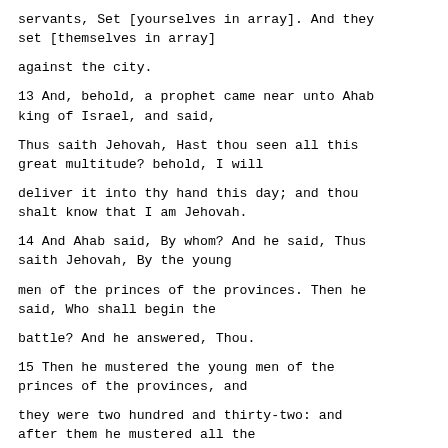servants, Set [yourselves in array]. And they set [themselves in array]
against the city.
13 And, behold, a prophet came near unto Ahab king of Israel, and said,
Thus saith Jehovah, Hast thou seen all this great multitude? behold, I will
deliver it into thy hand this day; and thou shalt know that I am Jehovah.
14 And Ahab said, By whom? And he said, Thus saith Jehovah, By the young
men of the princes of the provinces. Then he said, Who shall begin the
battle? And he answered, Thou.
15 Then he mustered the young men of the princes of the provinces, and
they were two hundred and thirty-two: and after them he mustered all the
people, even all the children of Israel, being seven thousand.
16 And they went out at noon. But Ben-hadad